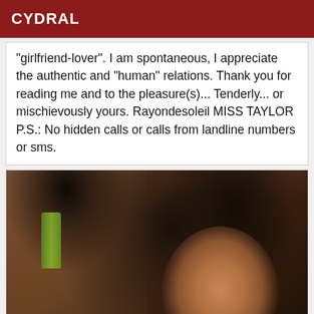CYDRAL
"girlfriend-lover". I am spontaneous, I appreciate the authentic and "human" relations. Thank you for reading me and to the pleasure(s)... Tenderly... or mischievously yours. Rayondesoleil MISS TAYLOR P.S.: No hidden calls or calls from landline numbers or sms.
[Figure (photo): Photo of a young woman with long black wavy hair, taking a selfie in what appears to be a hair salon setting. She is smiling slightly at the camera. The background shows salon equipment and products.]